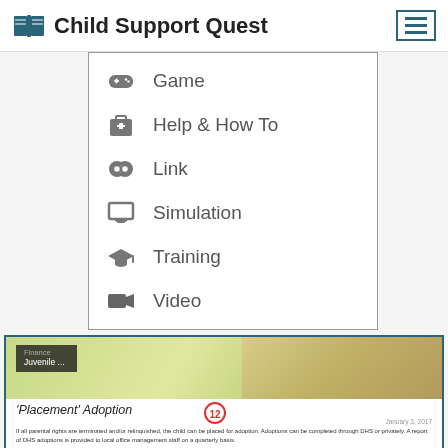Child Support Quest
Game
Help & How To
Link
Simulation
Training
Video
[Figure (screenshot): Screenshot of a web article titled 'Placement' Adoption with badge number 12, dated January 3, 2017, with Finance/Juvenile category tags and body text about CSS adoption policies.]
'Placement' Adoption
January 3, 2017
If all parental rights are terminated and/or relinquished, the child can be placed for adoption. Adoptions can be completed through DHS or privately. A report of DHS adoptions is provided to local office management staff on a quarterly basis.
For private adoptions, Child Support Services (CSS) depends on notification from a customer so the case can be reviewed further. When CSS has verified that a child has been adopted, current support will no longer be charged. CSS will collect past due balances that accrued prior to the date of the adoption.